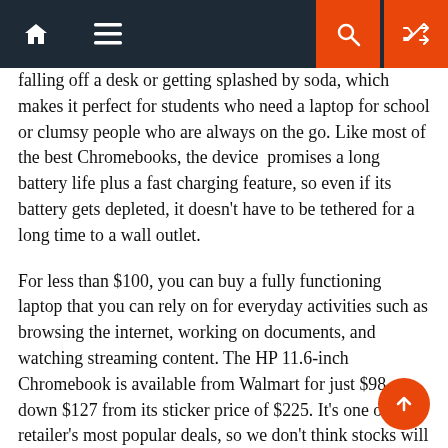Navigation bar with home, menu, search, and shuffle icons
falling off a desk or getting splashed by soda, which makes it perfect for students who need a laptop for school or clumsy people who are always on the go. Like most of the best Chromebooks, the device promises a long battery life plus a fast charging feature, so even if its battery gets depleted, it doesn't have to be tethered for a long time to a wall outlet.
For less than $100, you can buy a fully functioning laptop that you can rely on for everyday activities such as browsing the internet, working on documents, and watching streaming content. The HP 11.6-inch Chromebook is available from Walmart for just $98, down $127 from its sticker price of $225. It's one of the retailer's most popular deals, so we don't think stocks will last long. If you want to pay this very cheap price for the HP 11.6-inch Chromebook, you should finalize the purchase right away.